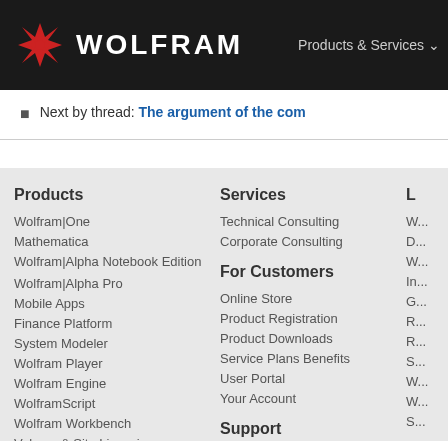WOLFRAM  Products & Services
Next by thread: The argument of the com...
Products
Wolfram|One
Mathematica
Wolfram|Alpha Notebook Edition
Wolfram|Alpha Pro
Mobile Apps
Finance Platform
System Modeler
Wolfram Player
Wolfram Engine
WolframScript
Wolfram Workbench
Volume & Site Licensing
Enterprise Private Cloud
Services
Technical Consulting
Corporate Consulting
For Customers
Online Store
Product Registration
Product Downloads
Service Plans Benefits
User Portal
Your Account
Support
Support FAQ